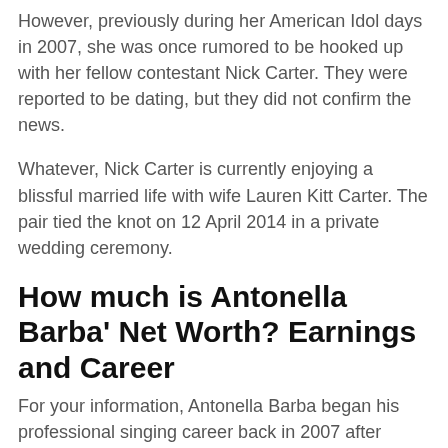However, previously during her American Idol days in 2007, she was once rumored to be hooked up with her fellow contestant Nick Carter. They were reported to be dating, but they did not confirm the news.
Whatever, Nick Carter is currently enjoying a blissful married life with wife Lauren Kitt Carter. The pair tied the knot on 12 April 2014 in a private wedding ceremony.
How much is Antonella Barba' Net Worth? Earnings and Career
For your information, Antonella Barba began his professional singing career back in 2007 after appearing on the television at the New York City auditions of American Idol and her audition was